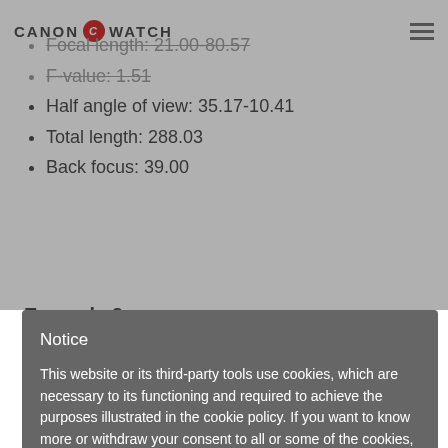CANON C WATCH
Focal length: 21.00-80.57
F-value: 1.51
Half angle of view: 35.17-10.41
Total length: 288.03
Back focus: 39.00
Example 2
Notice
This website or its third-party tools use cookies, which are necessary to its functioning and required to achieve the purposes illustrated in the cookie policy. If you want to know more or withdraw your consent to all or some of the cookies, please refer to the cookie policy. By closing this banner you agree to the use of cookies.
keep disabled
ENABLE
distance